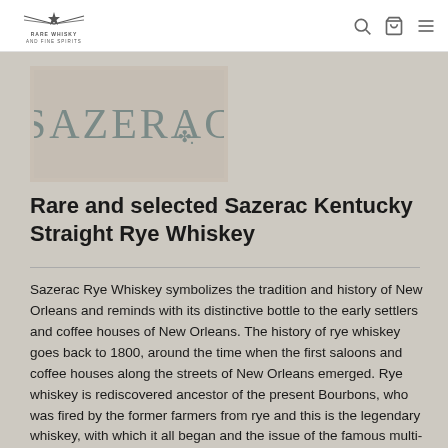RARE WHISKY AND FINE SPIRITS
[Figure (logo): Sazerac brand logo with decorative serif lettering reading SAZERAC with a fleur-de-lis emblem]
Rare and selected Sazerac Kentucky Straight Rye Whiskey
Sazerac Rye Whiskey symbolizes the tradition and history of New Orleans and reminds with its distinctive bottle to the early settlers and coffee houses of New Orleans. The history of rye whiskey goes back to 1800, around the time when the first saloons and coffee houses along the streets of New Orleans emerged. Rye whiskey is rediscovered ancestor of the present Bourbons, who was fired by the former farmers from rye and this is the legendary whiskey, with which it all began and the issue of the famous multi-award winning rye whiskey from the Buffalo Trace Distillery, which with the legendary Bourbon and Rye whiskeys of Pappy Van Winkle, William Larue Weller, Eagle Rare and George T. Stagg is